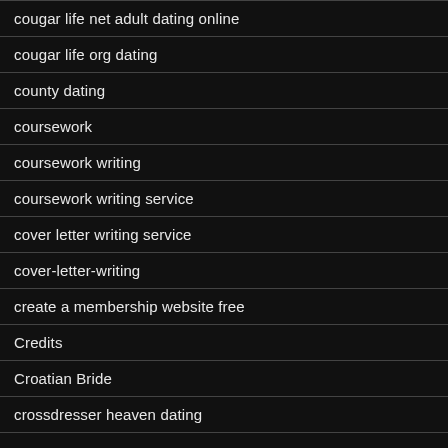cougar life net adult dating online
cougar life org dating
county dating
coursework
coursework writing
coursework writing service
cover letter writing service
cover-letter-writing
create a membership website free
Credits
Croatian Bride
crossdresser heaven dating